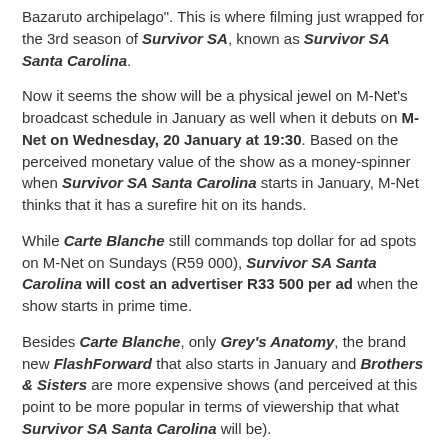Bazaruto archipelago". This is where filming just wrapped for the 3rd season of Survivor SA, known as Survivor SA Santa Carolina.
Now it seems the show will be a physical jewel on M-Net's broadcast schedule in January as well when it debuts on M-Net on Wednesday, 20 January at 19:30. Based on the perceived monetary value of the show as a money-spinner when Survivor SA Santa Carolina starts in January, M-Net thinks that it has a surefire hit on its hands.
While Carte Blanche still commands top dollar for ad spots on M-Net on Sundays (R59 000), Survivor SA Santa Carolina will cost an advertiser R33 500 per ad when the show starts in prime time.
Besides Carte Blanche, only Grey's Anatomy, the brand new FlashForward that also starts in January and Brothers & Sisters are more expensive shows (and perceived at this point to be more popular in terms of viewership that what Survivor SA Santa Carolina will be).